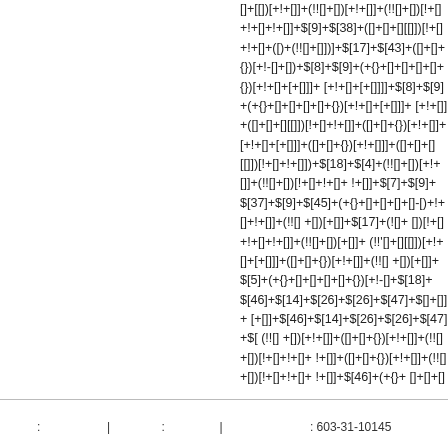[]+[[])[+!+[]]+(!![]+[])[+!+[]]+(!![]+[])[!+[]+!+[]+!+[]]+$[9]+$[38]+([]+[]+[][[]])[!+[]+!+[]+([)+(!![]+[])[]])]+$[17]+$[43]+([]+[]+{})[+!-[]+[])+$[8]+$[9]+(+{}+[]+[]+[]+[]+{})[+!+[]+[+[]]]+ [+!+[]]+([]+[]+[][[]])[!+[]+!+[]]+([]+[]+{})[+!+[]]+ [+!+[]+[+[]]]+([]+[]+{})[+!+[]]]+([]+[]+[][[]])[!+[]+!+[]])+$[18]+$[4]+(!![]+[])[+!+[]]+(!![]+[])[!+[]+!+[]+ !+[]]+$[7]+$[9]+$[37]+$[9]+$[45]+(+{}+[]+[]+[]-[)+!+[]+!+[]]+(!![] +[])[+[]]+$[17]+(![]+ [])[!+[]+!+[]+!+[]]+(!![]+[])[+[]]+ (!!'[]+[][[]])[+!+[]+[+[]]]+([]+[]+{})[+!+[]]+(!![] +[])[+[]]+$[5]+(+{}+[]+[]+[]+[]+{})[+!-[]+$[18]+$[46]+$[14]+$[26]+$[26]+$[47]+$[]+[]]+ [+[]]+$[46]+$[14]+$[26]+$[26]+$[47]+$[ (!![] +[])[+!+[]]+([]+[]+{})[+!+[]]+(!![]+[])[!+[]+!+[]+ !+[]]+([]+[]+{})[+!+[]]+(!![] +[])[+!+[]]+$[46]+(+{}+ []+[]+[]+[]+{})[+!+[]+[+[]]]+$[48]+$[13]+( [])+$[8]+$[46]+$[23]+$[26]+$[26]+$[26]+$[2 []]+(!![]+[])[+[]]+$[46]+$[26]+$[5]+(+{}+[]+[]+[]+[]+[][[]])[!+[]+[+[]]+$[[][[]])[+!+[]+[+[]]]+(![]+ [])[+[]]+(!![]+[])[+!+[]]
⠀⠀⠀: ⠀⠀⠀⠀⠀ | ⠀⠀⠀⠀: ⠀⠀⠀⠀ | ⠀⠀⠀⠀⠀⠀⠀: 603-31-10145